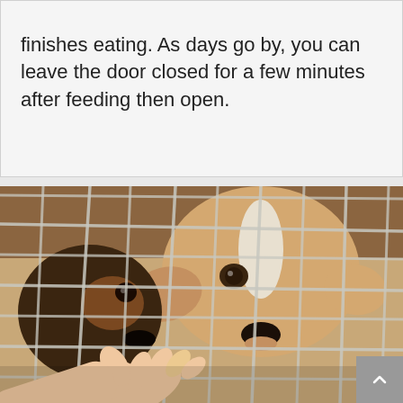finishes eating. As days go by, you can leave the door closed for a few minutes after feeding then open.
[Figure (photo): Two dogs behind wire cage bars looking through the bars. A human hand extends toward the dogs from the lower left. One dog is tan/white and the other is brown/black. The photo appears to be taken at an animal shelter.]